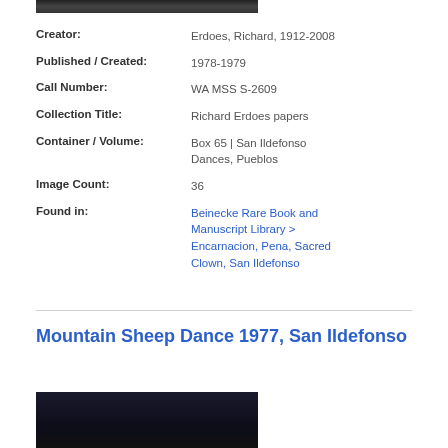[Figure (photo): Partial photo image at top of page, dark tones]
Creator: Erdoes, Richard, 1912-2008
Published / Created: 1978-1979
Call Number: WA MSS S-2609
Collection Title: Richard Erdoes papers
Container / Volume: Box 65 | San Ildefonso Dances, Pueblos
Image Count: 36
Found in: Beinecke Rare Book and Manuscript Library > Encarnacion, Pena, Sacred Clown, San Ildefonso
Mountain Sheep Dance 1977, San Ildefonso
[Figure (photo): Partial photo image at bottom of page, dark group scene]